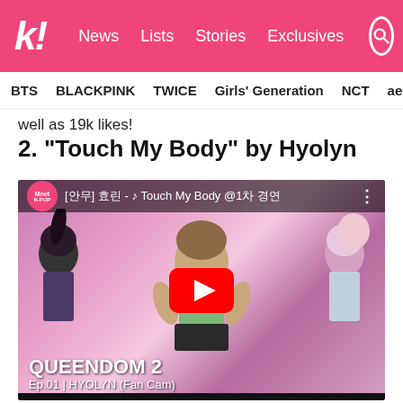k! News Lists Stories Exclusives
BTS BLACKPINK TWICE Girls' Generation NCT aespa
well as 19k likes!
2. “Touch My Body” by Hyolyn
[Figure (screenshot): YouTube video thumbnail showing Hyolyn performing Touch My Body on Queendom 2 Ep.01. The Mnet K-POP logo appears top left, video title text shows '[안무] 효린 - ♪ Touch My Body @1차 경연', a red YouTube play button is centered, and the bottom overlay reads 'QUEENDOM 2 Ep.01 | HYOLYN (Fan Cam)']